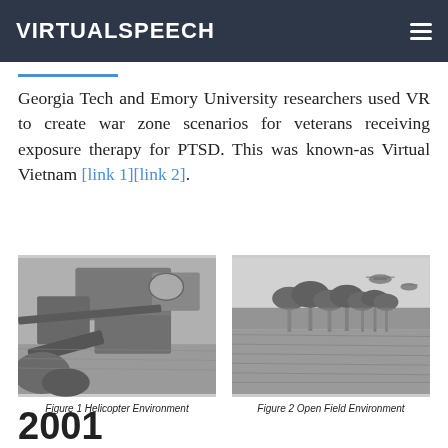VIRTUALSPEECH
Georgia Tech and Emory University researchers used VR to create war zone scenarios for veterans receiving exposure therapy for PTSD. This was known-as Virtual Vietnam [link 1][link 2].
[Figure (illustration): Black and white rendered image of a helicopter interior/cockpit environment - Virtual Vietnam VR scene]
Figure 1 Helicopter Environment
[Figure (illustration): Black and white rendered image of an open field with trees and helicopters in the sky - Virtual Vietnam VR scene]
Figure 2 Open Field Environment
2001